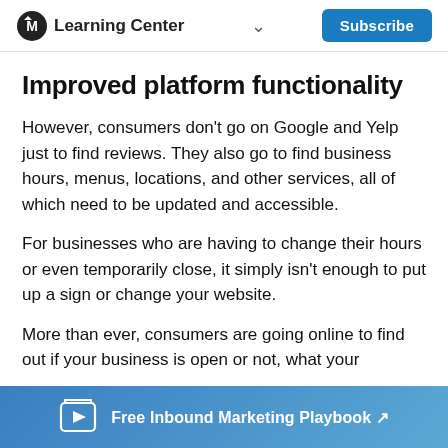Learning Center | Subscribe
Improved platform functionality
However, consumers don't go on Google and Yelp just to find reviews. They also go to find business hours, menus, locations, and other services, all of which need to be updated and accessible.
For businesses who are having to change their hours or even temporarily close, it simply isn't enough to put up a sign or change your website.
More than ever, consumers are going online to find out if your business is open or not, what your
Free Inbound Marketing Playbook ↗